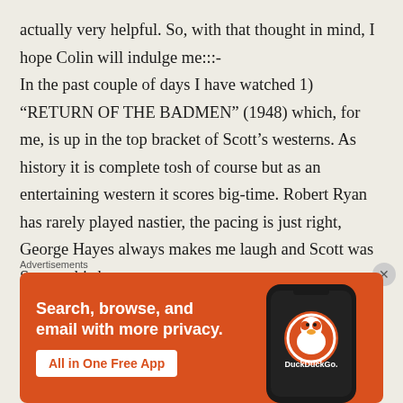actually very helpful. So, with that thought in mind, I hope Colin will indulge me:::- In the past couple of days I have watched 1) "RETURN OF THE BADMEN" (1948) which, for me, is up in the top bracket of Scott's westerns. As history it is complete tosh of course but as an entertaining western it scores big-time. Robert Ryan has rarely played nastier, the pacing is just right, George Hayes always makes me laugh and Scott was Scott at his best. 2) "REMEMBER THE NIGHT" (1940) a drama starring Stanwyck and MacMurray at their most
Advertisements
[Figure (infographic): DuckDuckGo advertisement banner with orange background. Text reads: Search, browse, and email with more privacy. All in One Free App. Shows a phone with DuckDuckGo logo.]